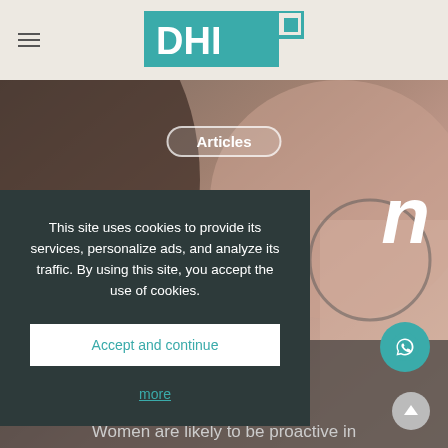[Figure (logo): DHI logo – teal rectangle with white letters DHI and a smaller teal square accent on right]
[Figure (photo): Woman looking into a magnifying glass or lens, close-up portrait, muted warm tones]
Articles
n
This site uses cookies to provide its services, personalize ads, and analyze its traffic. By using this site, you accept the use of cookies.
Accept and continue
more
Women are likely to be proactive in